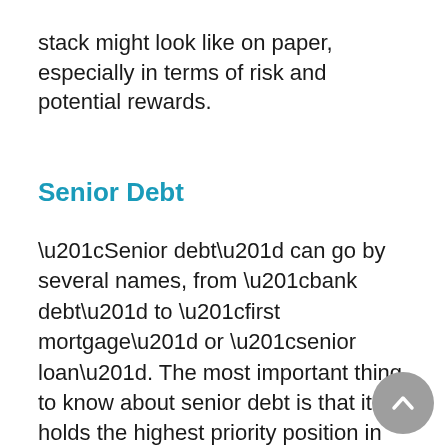stack might look like on paper, especially in terms of risk and potential rewards.
Senior Debt
“Senior debt” can go by several names, from “bank debt” to “first mortgage” or “senior loan”. The most important thing to know about senior debt is that it holds the highest priority position in the real estate capital stack, meaning that it has a recorded legal document entitling the lender to the first